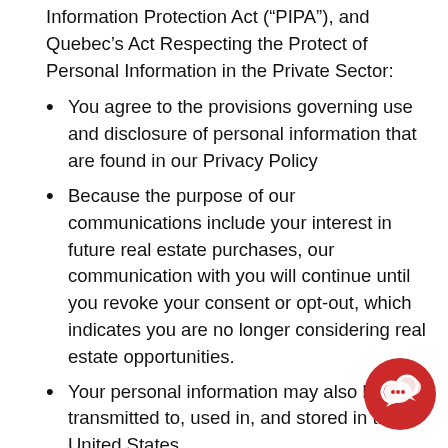Information Protection Act (“PIPA”), and Quebec’s Act Respecting the Protect of Personal Information in the Private Sector:
You agree to the provisions governing use and disclosure of personal information that are found in our Privacy Policy
Because the purpose of our communications include your interest in future real estate purchases, our communication with you will continue until you revoke your consent or opt-out, which indicates you are no longer considering real estate opportunities.
Your personal information may also be transmitted to, used in, and stored in the United States
DISPUTE RESOLUTION – ARBITRATION AGREEMENT
(Mandatory Binding Arbitration and Class